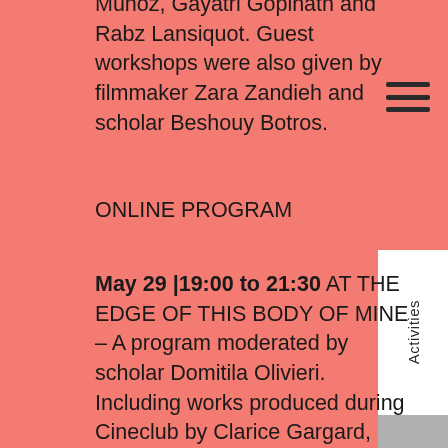Muñoz, Gayatri Gopinath and Rabz Lansiquot. Guest workshops were also given by filmmaker Zara Zandieh and scholar Beshouy Botros.
ONLINE PROGRAM
May 29 |19:00 to 21:30 AT THE EDGE OF THIS BODY OF MINE – A program moderated by scholar Domitila Olivieri. Including works produced during Cineclub by Clarice Gargard, Aileen Ye, Storm Vogel, Ana Bravo Pérez, Devika Chotoe, Tammam Azzam, Najiba Yasmin and Fileona D-khar.
In the films, themes exchanged in the group's encounters come to life in both essayistic and experimental visual forms. The program also includes a fragment of Zara Zandieh's OCTAVIA'S VISIONS, who will partake in the discussion of the films. OCTAVIA'S VISIONS is inspired by the